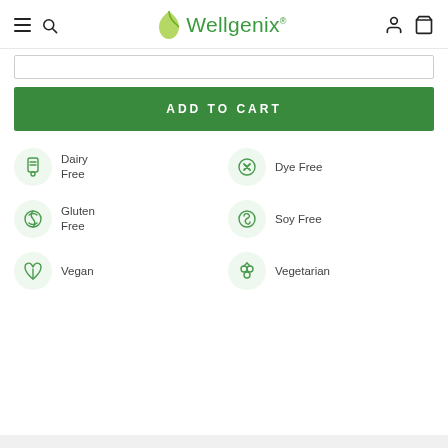Wellgenix
[Figure (screenshot): Input/text box field]
[Figure (infographic): ADD TO CART button - green rectangle]
[Figure (infographic): Six product badges: Dairy Free, Dye Free, Gluten Free, Soy Free, Vegan, Vegetarian with circular green icons]